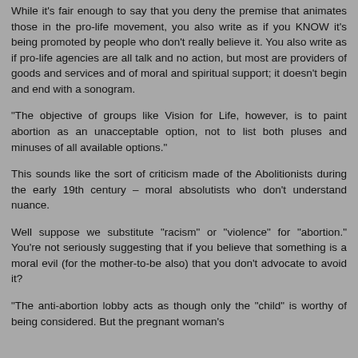While it's fair enough to say that you deny the premise that animates those in the pro-life movement, you also write as if you KNOW it's being promoted by people who don't really believe it. You also write as if pro-life agencies are all talk and no action, but most are providers of goods and services and of moral and spiritual support; it doesn't begin and end with a sonogram.
“The objective of groups like Vision for Life, however, is to paint abortion as an unacceptable option, not to list both pluses and minuses of all available options.”
This sounds like the sort of criticism made of the Abolitionists during the early 19th century – moral absolutists who don’t understand nuance.
Well suppose we substitute “racism” or “violence” for “abortion.” You’re not seriously suggesting that if you believe that something is a moral evil (for the mother-to-be also) that you don’t advocate to avoid it?
“The anti-abortion lobby acts as though only the “child” is worthy of being considered. But the pregnant woman’s